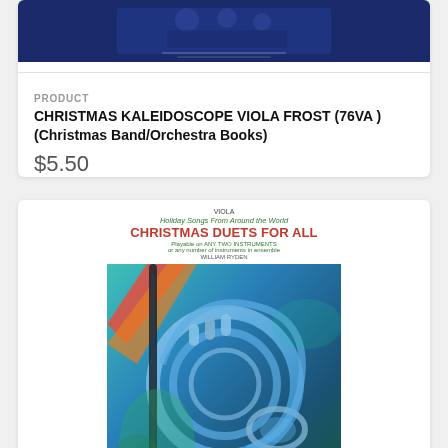[Figure (photo): Book cover image for Christmas Kaleidoscope Viola Frost, dark blue background with musicians]
PRODUCT
CHRISTMAS KALEIDOSCOPE VIOLA FROST (76VA ) (Christmas Band/Orchestra Books)
$5.50
[Figure (photo): Book cover for Christmas Duets For All, featuring colorful illustration of French horn, clarinet, and saxophone instruments on teal/blue background. Header text: VIOLA, Holiday Songs From Around the World, CHRISTMAS DUETS FOR ALL, Playable on ANY TWO INSTRUMENTS or any number of instruments in ensemble, WILLIAM RYDEN]
PRODUCT